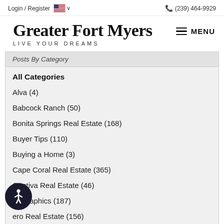Login / Register   (239) 464-9929
Greater Fort Myers
LIVE YOUR DREAMS
Posts By Category
All Categories
Alva  (4)
Babcock Ranch  (50)
Bonita Springs Real Estate  (168)
Buyer Tips  (110)
Buying a Home  (3)
Cape Coral Real Estate  (365)
Captiva Real Estate  (46)
Demographics  (187)
Estero Real Estate  (156)